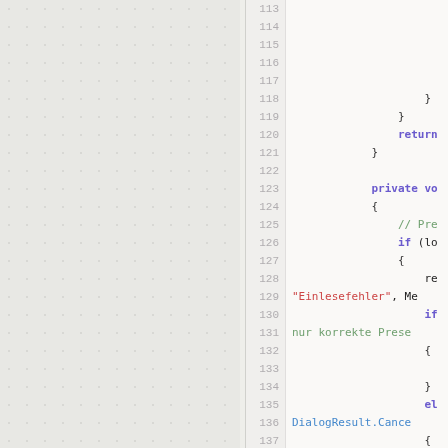[Figure (screenshot): Source code editor showing C# code lines 113-136 with line numbers, syntax highlighting (keywords in purple, comments in green, strings in red, class references in blue). Left portion shows a panel with dotted/watermark background pattern.]